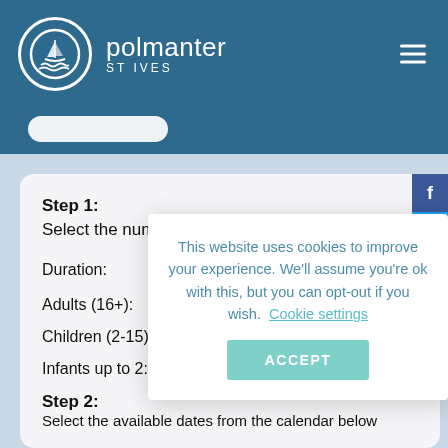polmanter ST IVES
Step 1:
Select the number of nights and people (max. 4)
Duration: 7 Nights
Adults (16+):
Children (2-15):
Infants up to 2:
This website uses cookies to improve your experience. We'll assume you're ok with this, but you can opt-out if you wish. Cookie settings
ACCEPT
Step 2:
Select the available dates from the calendar below